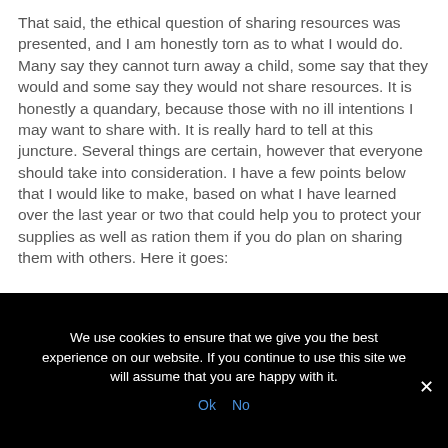That said, the ethical question of sharing resources was presented, and I am honestly torn as to what I would do.  Many say they cannot turn away a child, some say that they would and some say they would not share resources.  It is honestly a quandary, because those with no ill intentions I may want to share with.  It is really hard to tell at this juncture.  Several things are certain, however that everyone should take into consideration.  I have a few points below that I would like to make, based on what I have learned over the last year or two that could help you to protect your supplies as well as ration them if you do plan on sharing them with others. Here it goes:
We use cookies to ensure that we give you the best experience on our website. If you continue to use this site we will assume that you are happy with it.
Ok  No